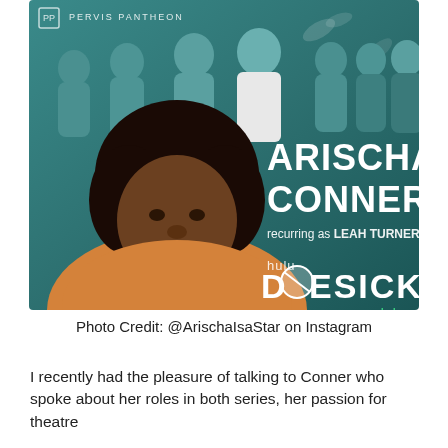[Figure (photo): Promotional poster for Hulu original series 'Dopesick' featuring Arischa Conner recurring as Leah Turner. Large close-up of Arischa Conner in foreground wearing an orange top, with ensemble cast in background against teal/green backdrop. Text reads 'PERVIS PANTHEON', 'ARISCHA CONNER', 'recurring as LEAH TURNER', 'hulu DOPESICK', 'ORIGINAL SERIES OCT 13 ONLY ON hulu'.]
Photo Credit: @ArischaIsaStar on Instagram
I recently had the pleasure of talking to Conner who spoke about her roles in both series, her passion for theatre